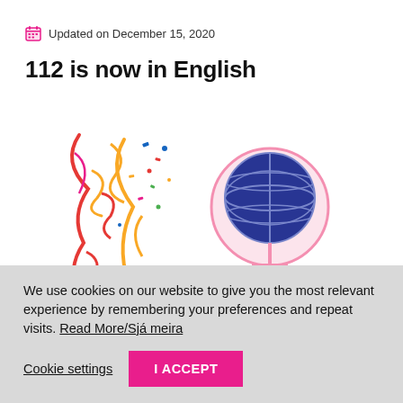Updated on December 15, 2020
112 is now in English
[Figure (logo): Celebration confetti illustration on left; Women's globe/female symbol logo on right with text: SAMTÖK KVENNA AF ERLENDUM UPPRUNA FAGNAR 18 ÁRA STARFI]
We use cookies on our website to give you the most relevant experience by remembering your preferences and repeat visits. Read More/Sjá meira
Cookie settings | I ACCEPT